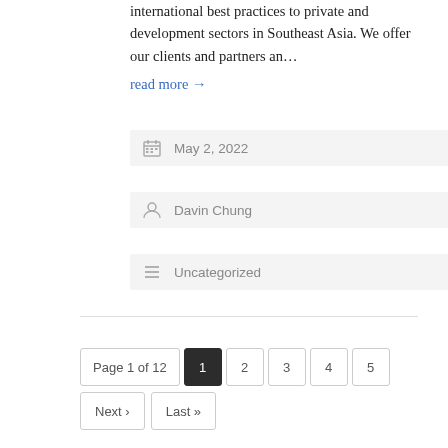international best practices to private and development sectors in Southeast Asia. We offer our clients and partners an…
read more →
May 2, 2022
Davin Chung
Uncategorized
Page 1 of 12  1  2  3  4  5  Next ›  Last »